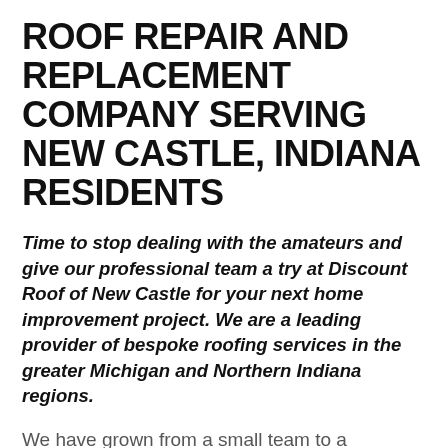ROOF REPAIR AND REPLACEMENT COMPANY SERVING NEW CASTLE, INDIANA RESIDENTS
Time to stop dealing with the amateurs and give our professional team a try at Discount Roof of New Castle for your next home improvement project. We are a leading provider of bespoke roofing services in the greater Michigan and Northern Indiana regions.
We have grown from a small team to a professional company with an exceptional